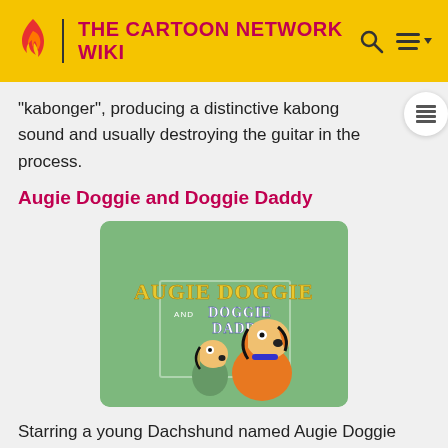THE CARTOON NETWORK WIKI
"kabonger", producing a distinctive kabong sound and usually destroying the guitar in the process.
Augie Doggie and Doggie Daddy
[Figure (screenshot): Title card for the Hanna-Barbera cartoon 'Augie Doggie and Doggie Daddy' showing two cartoon dachshund dogs on a green background with the title text.]
Starring a young Dachshund named Augie Doggie (voiced by Daws Butler) and his father Doggie Daddy (voiced by Doug Young impersonating Jimmy Durante), Doggie